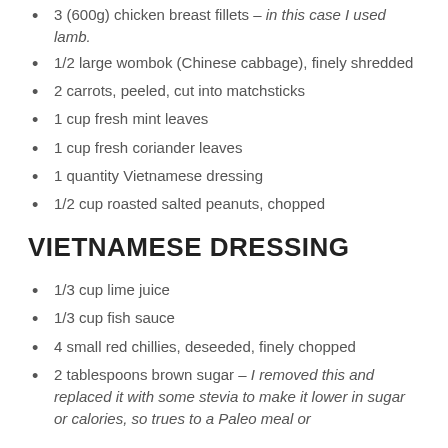3 (600g) chicken breast fillets – in this case I used lamb.
1/2 large wombok (Chinese cabbage), finely shredded
2 carrots, peeled, cut into matchsticks
1 cup fresh mint leaves
1 cup fresh coriander leaves
1 quantity Vietnamese dressing
1/2 cup roasted salted peanuts, chopped
VIETNAMESE DRESSING
1/3 cup lime juice
1/3 cup fish sauce
4 small red chillies, deseeded, finely chopped
2 tablespoons brown sugar – I removed this and replaced it with some stevia to make it lower in sugar or calories, so trues to a Paleo meal or